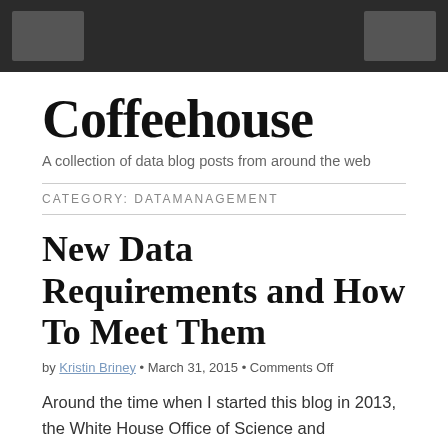Coffeehouse
Coffeehouse
A collection of data blog posts from around the web
CATEGORY: DATAMANAGEMENT
New Data Requirements and How To Meet Them
by Kristin Briney • March 31, 2015 • Comments Off
Around the time when I started this blog in 2013, the White House Office of Science and Technology Policy (OSTP) decreed that all major federal funders would soon have to require data management plans and data sharing from their grantees. …